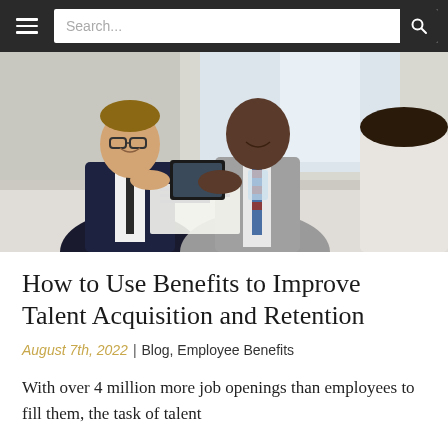Search...
[Figure (photo): Three business professionals in suits sitting at a conference table, smiling and reviewing documents; shot from slightly behind one person in foreground.]
How to Use Benefits to Improve Talent Acquisition and Retention
August 7th, 2022 | Blog, Employee Benefits
With over 4 million more job openings than employees to fill them, the task of talent